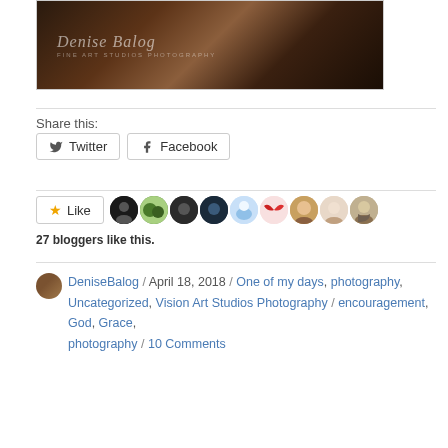[Figure (photo): Dark moody outdoor photograph with a watermark signature reading 'Denise Balog Fine Art Studios Photography']
Share this:
Twitter  Facebook
[Figure (other): Like button with star icon and a row of 9 blogger avatar thumbnails]
27 bloggers like this.
DeniseBalog / April 18, 2018 / One of my days, photography, Uncategorized, Vision Art Studios Photography / encouragement, God, Grace, photography / 10 Comments